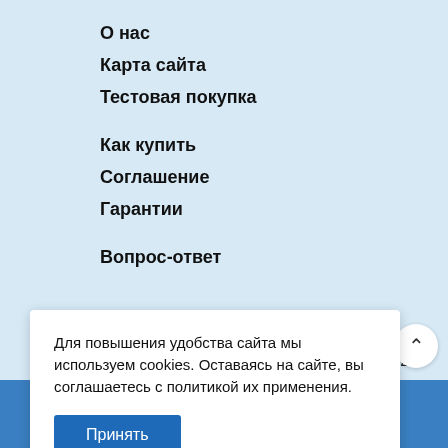О нас
Карта сайта
Тестовая покупка
Как купить
Соглашение
Гарантии
Вопрос-ответ
Для повышения удобства сайта мы используем cookies. Оставаясь на сайте, вы соглашаетесь с политикой их применения.
Принять
9-2022